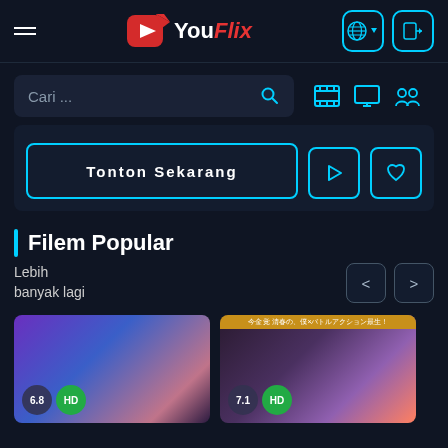[Figure (screenshot): YouFlix streaming website UI header with logo, hamburger menu, globe/language button, login button]
Cari ...
Tonton Sekarang
Filem Popular
Lebih banyak lagi
[Figure (screenshot): Movie card with rating 6.8 HD badge]
[Figure (screenshot): Movie card with rating 7.1 HD badge]